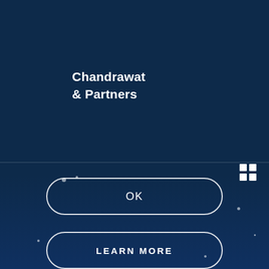[Figure (logo): Chandrawat & Partners law firm logo in white text on dark navy background]
OK
LEARN MORE